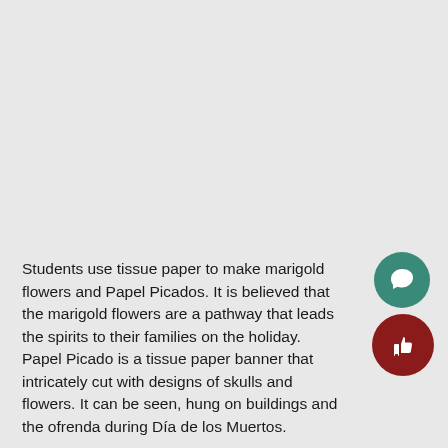Students use tissue paper to make marigold flowers and Papel Picados. It is believed that the marigold flowers are a pathway that leads the spirits to their families on the holiday. Papel Picado is a tissue paper banner that intricately cut with designs of skulls and flowers. It can be seen, hung on buildings and the ofrenda during Día de los Muertos.